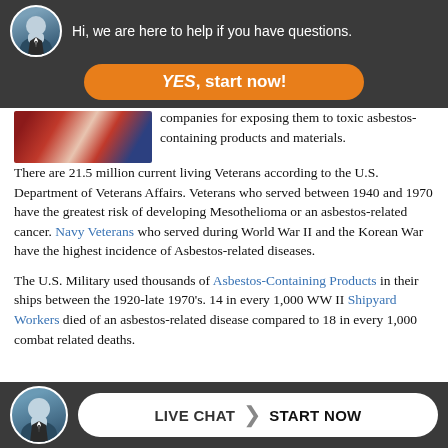[Figure (screenshot): Dark banner with circular avatar photo of a man in a suit and text: Hi, we are here to help if you have questions.]
[Figure (other): Orange rounded button with text: YES, start now!]
[Figure (photo): Partial image of a US flag or patriotic/military imagery]
companies for exposing them to toxic asbestos-containing products and materials.
There are 21.5 million current living Veterans according to the U.S. Department of Veterans Affairs. Veterans who served between 1940 and 1970 have the greatest risk of developing Mesothelioma or an asbestos-related cancer. Navy Veterans who served during World War II and the Korean War have the highest incidence of Asbestos-related diseases.
The U.S. Military used thousands of Asbestos-Containing Products in their ships between the 1920-late 1970’s. 14 in every 1,000 WW II Shipyard Workers died of an asbestos-related disease compared to 18 in every 1,000 combat related deaths.
[Figure (screenshot): Bottom dark bar with circular avatar and white rounded button: LIVE CHAT > START NOW]